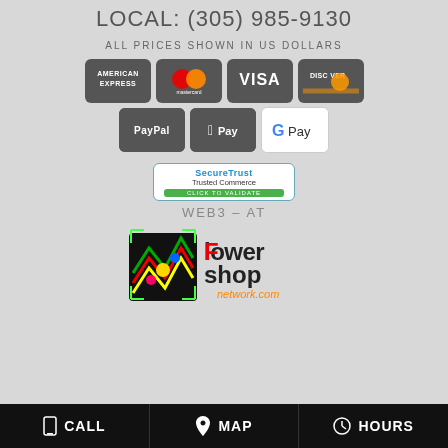LOCAL: (305) 985-9130
ALL PRICES SHOWN IN US DOLLARS
[Figure (logo): Payment method icons: American Express, Mastercard, Visa, Discover, PayPal, Apple Pay, Google Pay]
[Figure (logo): SecureTrust Trusted Commerce badge with CLICK TO VALIDATE button]
WEB3 - AT
[Figure (logo): Flower Shop Network logo]
CALL   MAP   HOURS